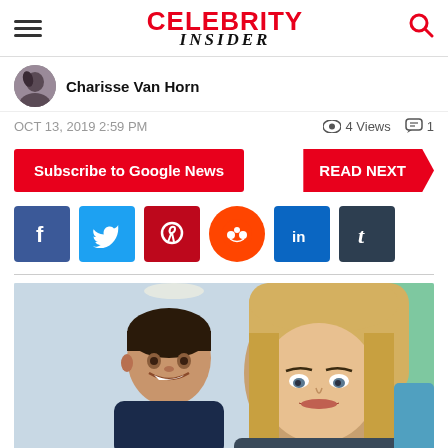Celebrity Insider
Charisse Van Horn
OCT 13, 2019 2:59 PM  4 Views  1
Subscribe to Google News
READ NEXT
[Figure (infographic): Social media share buttons: Facebook, Twitter, Pinterest, Reddit, LinkedIn, Tumblr]
[Figure (photo): Photo of two people, a young child and a woman with blonde hair, appearing to be a celebrity and a child, taken indoors near a window with greenery outside.]